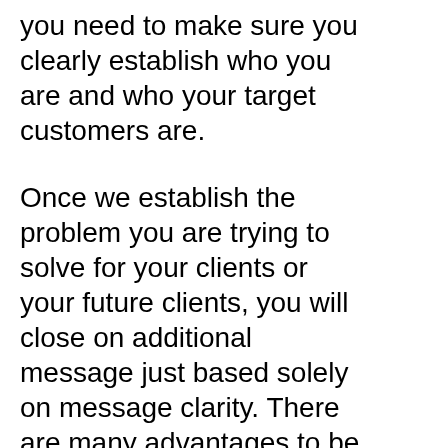you need to make sure you clearly establish who you are and who your target customers are.
Once we establish the problem you are trying to solve for your clients or your future clients, you will close on additional message just based solely on message clarity. There are many advantages to be a small business and you can differentiate yourself from other small businesses. You can also include